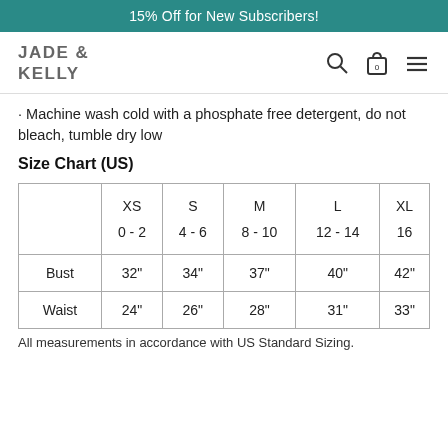15% Off for New Subscribers!
[Figure (logo): JADE & KELLY logo with search, bag (0), and menu icons]
· Machine wash cold with a phosphate free detergent, do not bleach, tumble dry low
Size Chart (US)
|  | XS | S | M | L | XL |
| --- | --- | --- | --- | --- | --- |
|  | 0 - 2 | 4 - 6 | 8 - 10 | 12 - 14 | 16 |
| Bust | 32" | 34" | 37" | 40" | 42" |
| Waist | 24" | 26" | 28" | 31" | 33" |
All measurements in accordance with US Standard Sizing.